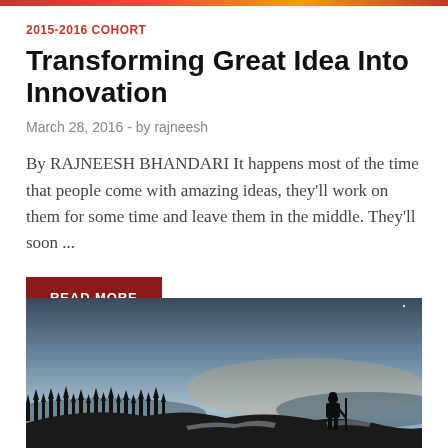2015-2016 COHORT
Transforming Great Idea Into Innovation
March 28, 2016  -  by rajneesh
By RAJNEESH BHANDARI It happens most of the time that people come with amazing ideas, they'll work on them for some time and leave them in the middle. They'll soon ...
READ MORE
[Figure (photo): Silhouette of a person standing on a rocky hill holding a staff, with a forested landscape and twilight sky in the background]